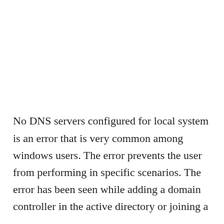No DNS servers configured for local system is an error that is very common among windows users. The error prevents the user from performing in specific scenarios. The error has been seen while adding a domain controller in the active directory or joining a